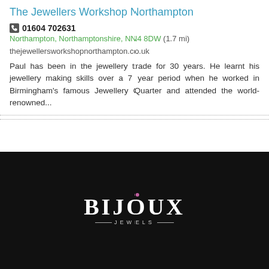The Jewellers Workshop Northampton
01604 702631
Northampton, Northamptonshire, NN4 8DW (1.7 mi)
thejewellersworkshopnorthampton.co.uk
Paul has been in the jewellery trade for 30 years. He learnt his jewellery making skills over a 7 year period when he worked in Birmingham's famous Jewellery Quarter and attended the world-renowned...
[Figure (logo): Bijoux Jewels logo — white bold text 'BIJOUX' with a pink dot above the O, and 'JEWELS' in small caps below with decorative lines, on a dark/black background.]